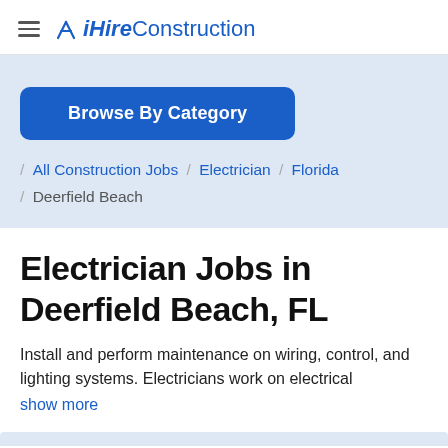iHireConstruction
Browse By Category
/ All Construction Jobs / Electrician / Florida / Deerfield Beach
Electrician Jobs in Deerfield Beach, FL
Install and perform maintenance on wiring, control, and lighting systems. Electricians work on electrical show more